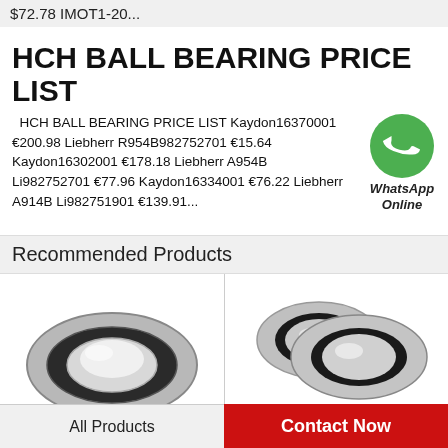$72.78 IMOT1-20...
HCH BALL BEARING PRICE LIST
HCH BALL BEARING PRICE LIST Kaydon16370001 €200.98 Liebherr R954B982752701 €15.64 Kaydon16302001 €178.18 Liebherr A954B Li982752701 €77.96 Kaydon16334001 €76.22 Liebherr A914B Li982751901 €139.91...
[Figure (logo): WhatsApp green circle icon with phone handset, labeled WhatsApp Online]
Recommended Products
[Figure (photo): Close-up photo of a ball bearing, circular chrome ring visible]
[Figure (photo): Close-up photo of two ball bearings with black rubber seals]
All Products
Contact Now